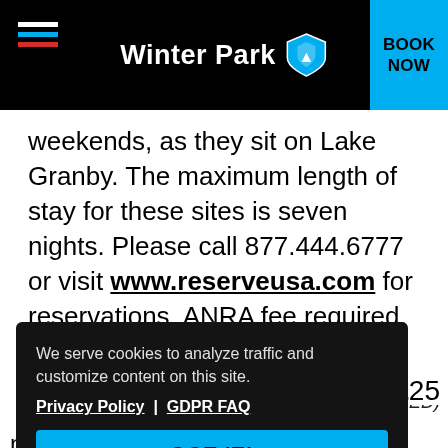Winter Park — BOOK NOW
weekends, as they sit on Lake Granby. The maximum length of stay for these sites is seven nights. Please call 877.444.6777 or visit www.reserveusa.com for reservations. ANRA fee required.
We serve cookies to analyze traffic and customize content on this site. Privacy Policy | GDPR FAQ
GOT IT!
RED)
25
non-electric first-come, first-serve